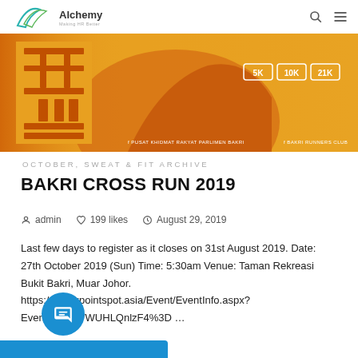Alchemy — Making HR Better
[Figure (photo): Banner image for Bakri Cross Run 2019 event showing orange/yellow design with 5K, 10K, 21K distance badges and Chinese character logo on left side.]
OCTOBER, SWEAT & FIT ARCHIVE
BAKRI CROSS RUN 2019
admin   199 likes   August 29, 2019
Last few days to register as it closes on 31st August 2019. Date: 27th October 2019 (Sun) Time: 5:30am Venue: Taman Rekreasi Bukit Bakri, Muar Johor. https://checkpointspot.asia/Event/EventInfo.aspx?EventCode=VWUHLQnlzF4%3D …